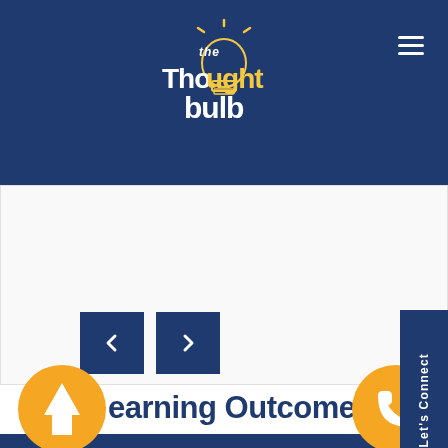The Thought Bulb
[Figure (screenshot): Slider area with white/light background and navigation arrows]
[Figure (infographic): Let's Connect sidebar button on the right side]
Learning Outcomes
[Figure (illustration): Orange circle with upward arrow icon]
[Figure (illustration): Orange circle with phone icon]